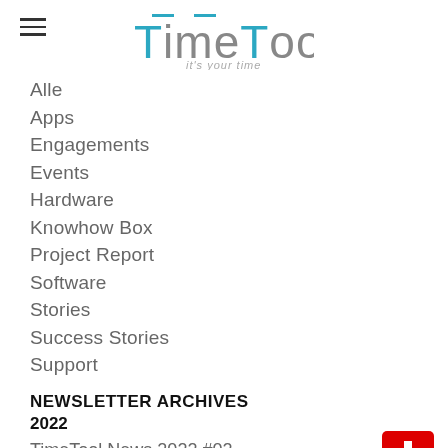[Figure (logo): TimeTool logo with teal accent bars and tagline 'it's your time']
Alle
Apps
Engagements
Events
Hardware
Knowhow Box
Project Report
Software
Stories
Success Stories
Support
NEWSLETTER ARCHIVES
2022
TimeTool News 2022 #02
TimeTool News 2022 #01
[Figure (other): Swiss flag icon (red background with white cross)]